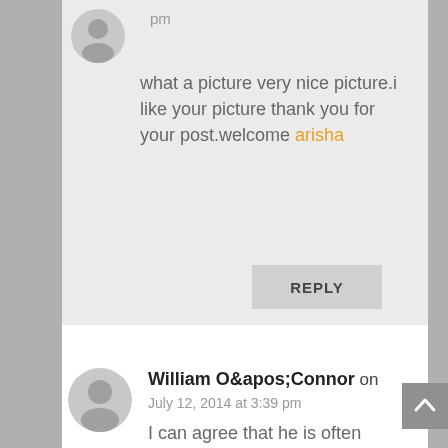pm
what a picture very nice picture.i like your picture thank you for your post.welcome arisha
REPLY
William O&apos;Connor on July 12, 2014 at 3:39 pm
I can agree that he is often making very subtle hints to his audience, but they are so minor as to be non threatening. Its a tiny wink rather than an insult. I don't